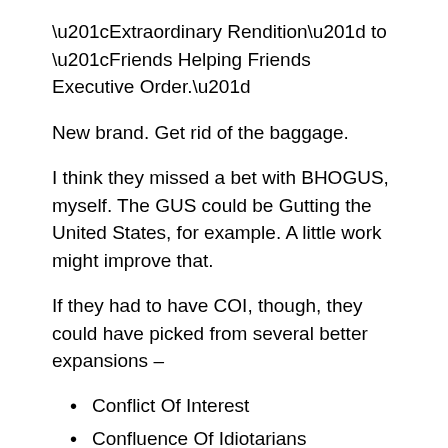“Extraordinary Rendition” to “Friends Helping Friends Executive Order.”
New brand. Get rid of the baggage.
I think they missed a bet with BHOGUS, myself. The GUS could be Gutting the United States, for example. A little work might improve that.
If they had to have COI, though, they could have picked from several better expansions –
Conflict Of Interest
Confluence Of Idiotarians
Congress Of Indigents
Chicago Oligarchy Imperative